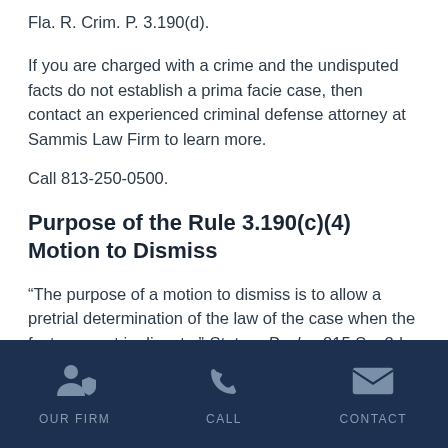Fla. R. Crim. P. 3.190(d).
If you are charged with a crime and the undisputed facts do not establish a prima facie case, then contact an experienced criminal defense attorney at Sammis Law Firm to learn more.
Call 813-250-0500.
Purpose of the Rule 3.190(c)(4) Motion to Dismiss
“The purpose of a motion to dismiss is to allow a pretrial determination of the law of the case when the facts are not in dispute.” State v. Pasko, 815 So. 2d
OUR FIRM  CALL  CONTACT